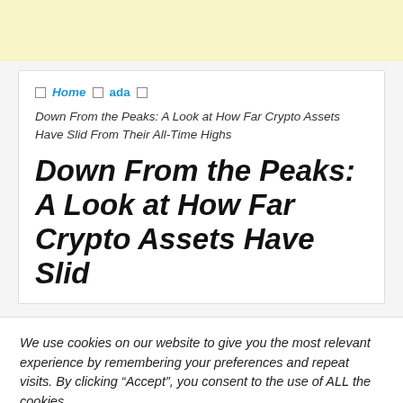Home  ada
Down From the Peaks: A Look at How Far Crypto Assets Have Slid From Their All-Time Highs
Down From the Peaks: A Look at How Far Crypto Assets Have Slid
We use cookies on our website to give you the most relevant experience by remembering your preferences and repeat visits. By clicking “Accept”, you consent to the use of ALL the cookies.
Do not sell my personal information.